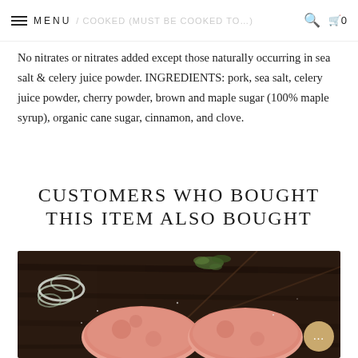MENU / COOKED (MUST BE COOKED TO...)
No nitrates or nitrates added except those naturally occurring in sea salt & celery juice powder. INGREDIENTS: pork, sea salt, celery juice powder, cherry powder, brown and maple sugar (100% maple syrup), organic cane sugar, cinnamon, and clove.
CUSTOMERS WHO BOUGHT THIS ITEM ALSO BOUGHT
[Figure (photo): Raw meat patties on a dark wooden cutting board with herbs and sliced onions]